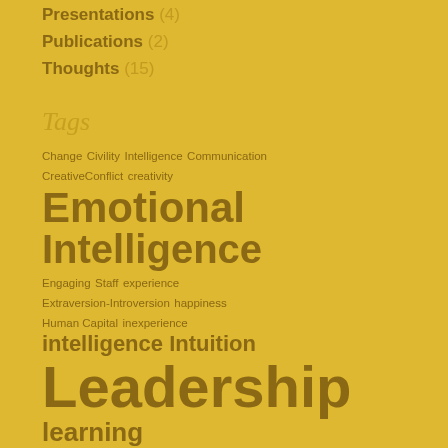Presentations (4)
Publications (2)
Thoughts (15)
Tags
Change Civility Intelligence Communication Creative Conflict creativity Emotional Intelligence Engaging Staff experience Extraversion-Introversion happiness Human Capital inexperience intelligence Intuition Leadership learning Listening luck Micromanagement